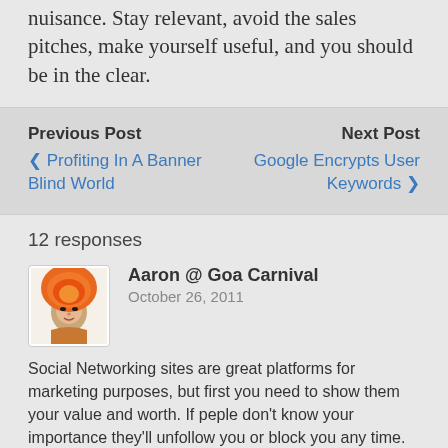nuisance. Stay relevant, avoid the sales pitches, make yourself useful, and you should be in the clear.
Previous Post
‹ Profiting In A Banner Blind World
Next Post
Google Encrypts User Keywords ›
12 responses
Aaron @ Goa Carnival
October 26, 2011
Social Networking sites are great platforms for marketing purposes, but first you need to show them your value and worth. If peple don't know your importance they'll unfollow you or block you any time.

So it's important to share some important info most